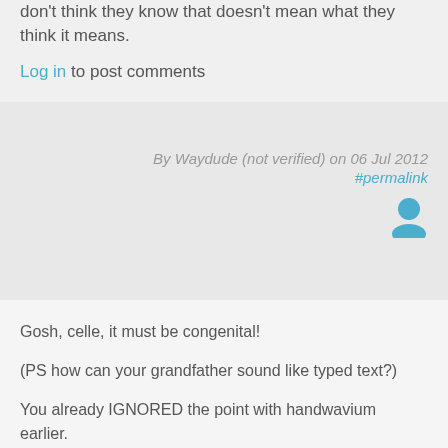don't think they know that doesn't mean what they think it means.
Log in to post comments
By Waydude (not verified) on 06 Jul 2012 #permalink
[Figure (illustration): User avatar icon in blue/teal color]
Gosh, celle, it must be congenital!
(PS how can your grandfather sound like typed text?)
You already IGNORED the point with handwavium earlier.
For one: you posed the question but did not answer "does the field move with us". Yet you are here taking it as fact that it does, else your whining pouts are pointless.
You also seem to have missed what scalar